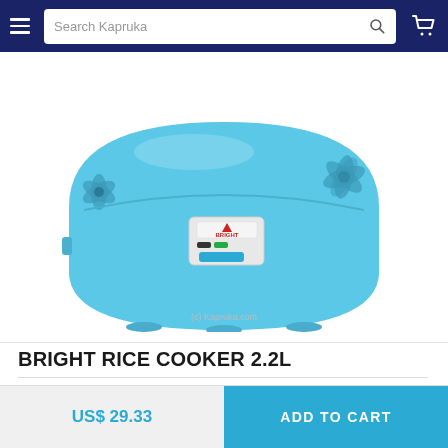Search Kapruka
[Figure (photo): A blue Bright brand rice cooker (2.2L) with floral design, showing the front control panel with cook/warm switches. White background product photo. Watermark: (c) Kapruka.com]
(c) Kapruka.com
BRIGHT RICE COOKER 2.2L
US$ 29.33
US$ 29.33  ADD TO CART